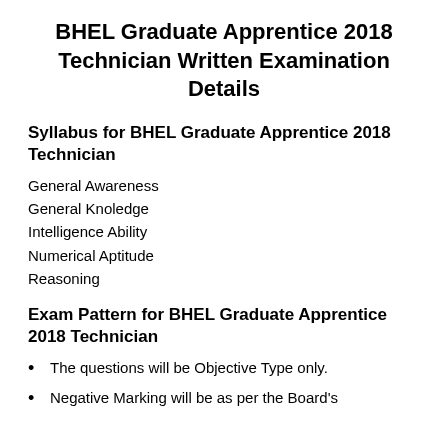BHEL Graduate Apprentice 2018 Technician Written Examination Details
Syllabus for BHEL Graduate Apprentice 2018 Technician
General Awareness
General Knoledge
Intelligence Ability
Numerical Aptitude
Reasoning
Exam Pattern for BHEL Graduate Apprentice 2018 Technician
The questions will be Objective Type only.
Negative Marking will be as per the Board's...